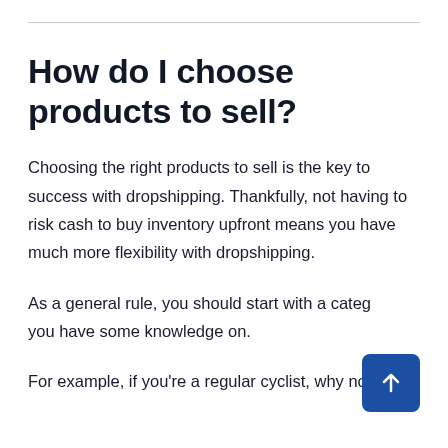How do I choose products to sell?
Choosing the right products to sell is the key to success with dropshipping. Thankfully, not having to risk cash to buy inventory upfront means you have much more flexibility with dropshipping.
As a general rule, you should start with a category you have some knowledge on.
For example, if you're a regular cyclist, why not tap